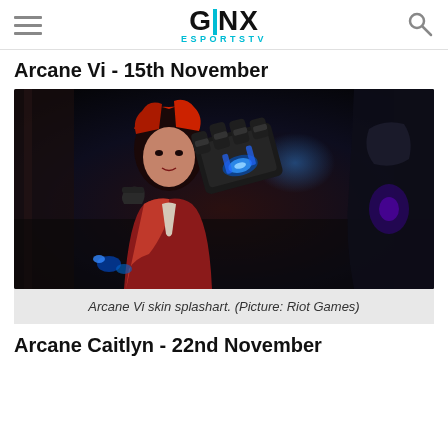GINX ESPORTSTV
Arcane Vi - 15th November
[Figure (illustration): Arcane Vi skin splash art showing Vi with red hair and mechanical gauntlet glowing blue, facing another armored figure]
Arcane Vi skin splashart. (Picture: Riot Games)
Arcane Caitlyn - 22nd November